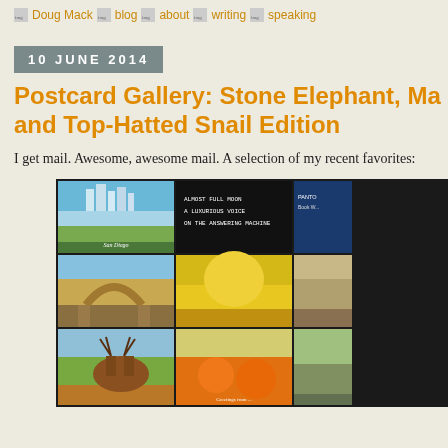Doug Mack | blog | about | writing | speaking
10 JUNE 2014
Postcard Gallery: Stone Elephant, Ma and Top-Hatted Snail Edition
I get mail. Awesome, awesome mail. A selection of my recent favorites:
[Figure (photo): A grid of postcards on a dark background showing: San Diego skyline postcard, a marquee sign reading 'ALMOST FULL MOON A LUXURIOUS VOICE ON THE ANSWERING MACHINE', a partial card, a stone arch rock formation postcard, a yellow illustrated postcard, a moose postcard, an orange/citrus postcard, and partial cards on the right edge.]